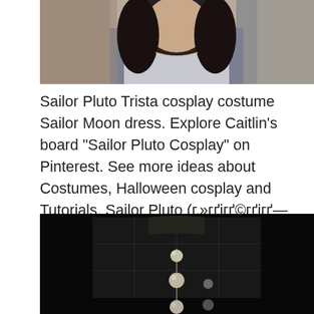[Figure (photo): Partial photo of a person from shoulders up, with dark hair, wearing a light-colored top and necklace, against a room background.]
Sailor Pluto Trista cosplay costume Sailor Moon dress. Explore Caitlin's board "Sailor Pluto Cosplay" on Pinterest. See more ideas about Costumes, Halloween cosplay and Tutorials. Sailor Pluto (セーラープルート, SД"rДГ PurE«to) is a fictional lead character in the Sailor Moon manga series written by Naoko Takeuchi. The alternate.
[Figure (photo): Dark background photo showing what appears to be pearl drop earrings or jewelry hanging against a dark panel/grid surface.]